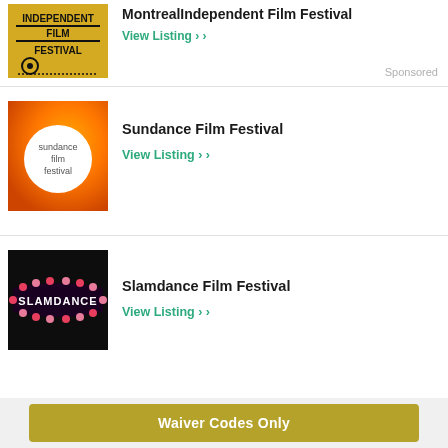[Figure (logo): Independent Film Festival logo on golden/yellow background with film reel icon]
Montreal Independent Film Festival
View Listing ›
Sponsored
[Figure (logo): Sundance Film Festival logo - white circle on orange gradient background with text 'sundance film festival']
Sundance Film Festival
View Listing ›
[Figure (logo): Slamdance Film Festival logo - illuminated marquee sign with bulbs spelling SLAMDANCE on black background]
Slamdance Film Festival
View Listing ›
Waiver Codes Only